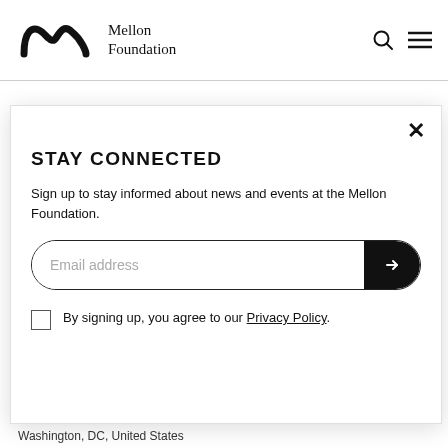[Figure (logo): Mellon Foundation logo with stylized 'm' symbol and text 'Mellon Foundation']
Council on Library and Information Resources
Graduate Research Fellowships
STAY CONNECTED
Sign up to stay informed about news and events at the Mellon Foundation.
Email address
By signing up, you agree to our Privacy Policy.
Washington, DC, United States